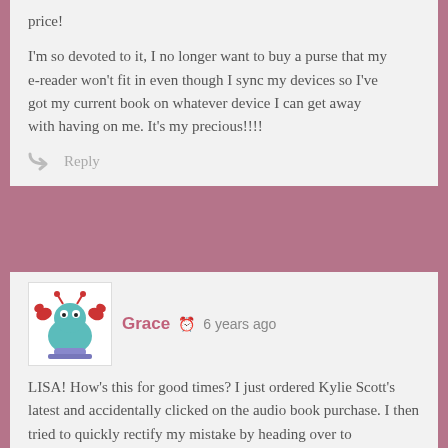price!

I'm so devoted to it, I no longer want to buy a purse that my e-reader won't fit in even though I sync my devices so I've got my current book on whatever device I can get away with having on me. It's my precious!!!!
Reply
[Figure (illustration): Avatar image of a cartoon crab character in teal/blue and red colors]
Grace  6 years ago
LISA! How's this for good times? I just ordered Kylie Scott's latest and accidentally clicked on the audio book purchase. I then tried to quickly rectify my mistake by heading over to audible.com to return it, but couldn't because it was still processing. So I initiated a chat with customer service to see if they could advise me on how long to wait. Turns out once I explained it all, they